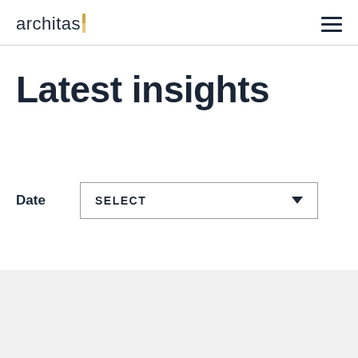architas
Latest insights
Date
[Figure (screenshot): A dropdown select box labeled SELECT with a downward arrow, for filtering by date]
[Figure (other): Gray placeholder card area at the bottom of the page]